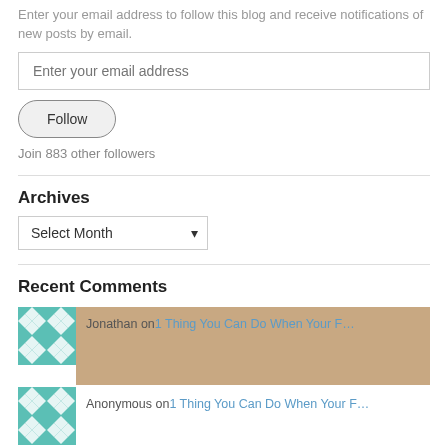Enter your email address to follow this blog and receive notifications of new posts by email.
Enter your email address
Follow
Join 883 other followers
Archives
Select Month
Recent Comments
Jonathan on 1 Thing You Can Do When Your F…
Anonymous on 1 Thing You Can Do When Your F…